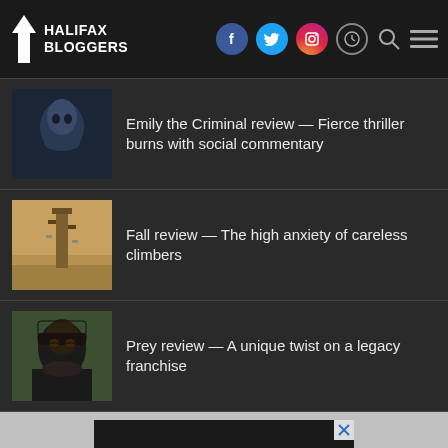HALIFAX BLOGGERS
[Figure (photo): Movie thumbnail: dark blue toned close-up of a person's face for Emily the Criminal]
Emily the Criminal review — Fierce thriller burns with social commentary
[Figure (photo): Movie thumbnail: desert landscape with tall tower structure for Fall review]
Fall review — The high anxiety of careless climbers
[Figure (photo): Movie thumbnail: close-up of person with long black hair and face paint for Prey review]
Prey review — A unique twist on a legacy franchise